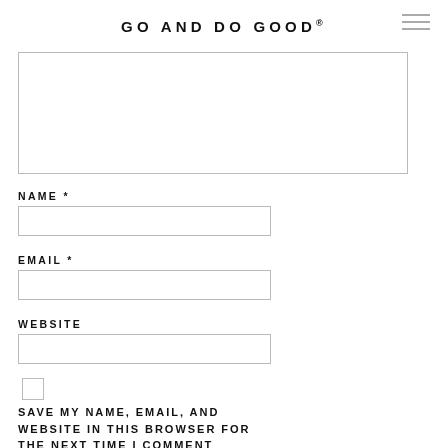GO AND DO GOOD®
[Figure (other): Comment text area input box (partially visible, cropped at top)]
NAME *
[Figure (other): Name text input field]
EMAIL *
[Figure (other): Email text input field]
WEBSITE
[Figure (other): Website text input field]
[Figure (other): Checkbox (unchecked)]
SAVE MY NAME, EMAIL, AND WEBSITE IN THIS BROWSER FOR THE NEXT TIME I COMMENT